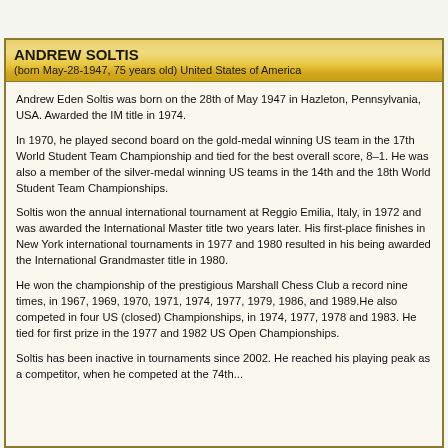ANDREW SOLTIS
(born May-28-1947, 75 years old) United States of America
Andrew Eden Soltis was born on the 28th of May 1947 in Hazleton, Pennsylvania, USA. Awarded the IM title in 1974.
In 1970, he played second board on the gold-medal winning US team in the 17th World Student Team Championship and tied for the best overall score, 8–1. He was also a member of the silver-medal winning US teams in the 14th and the 18th World Student Team Championships.
Soltis won the annual international tournament at Reggio Emilia, Italy, in 1972 and was awarded the International Master title two years later. His first-place finishes in New York international tournaments in 1977 and 1980 resulted in his being awarded the International Grandmaster title in 1980.
He won the championship of the prestigious Marshall Chess Club a record nine times, in 1967, 1969, 1970, 1971, 1974, 1977, 1979, 1986, and 1989.He also competed in four US (closed) Championships, in 1974, 1977, 1978 and 1983. He tied for first prize in the 1977 and 1982 US Open Championships.
Soltis has been inactive in tournaments since 2002. He reached his playing peak as a competitor, when he competed at the 74th...